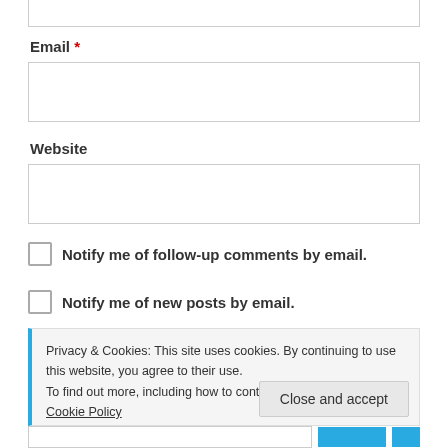Email *
Website
Notify me of follow-up comments by email.
Notify me of new posts by email.
Privacy & Cookies: This site uses cookies. By continuing to use this website, you agree to their use.
To find out more, including how to control cookies, see here: Cookie Policy
Close and accept